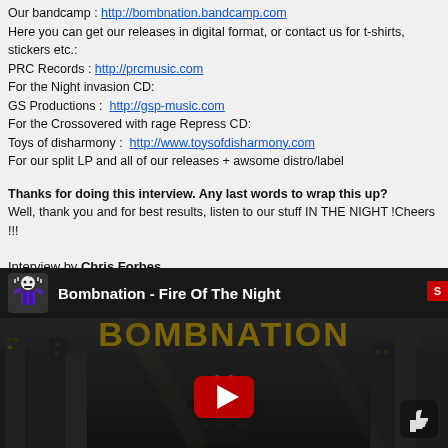Our bandcamp : http://bombnation.bandcamp.com
Here you can get our releases in digital format, or contact us for t-shirts, stickers etc.:
PRC Records : http://prcmusic.com
For the Night invasion CD:
GS Productions : http://gsp-music.com
For the Crossovered with rage Repress CD:
Toys of disharmony : http://www.toysofdisharmony.com
For our split LP and all of our releases + awsome distro/label
Thanks for doing this interview. Any last words to wrap this up?
Well, thank you and for best results, listen to our stuff IN THE NIGHT !Cheers !!!
Interview by Chris Forbes
Answers by Jack (guitars)
October 2014
[Figure (screenshot): YouTube video thumbnail for 'Bombnation - Fire Of The Night' showing the Bombnation logo in olive/gold text over a dark city backdrop with a robot/monster figure, a red YouTube play button, and a thumbs up icon in the lower right.]